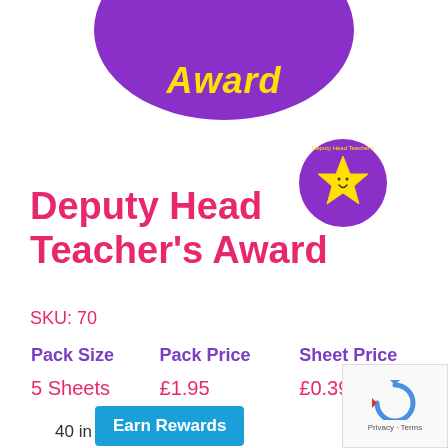[Figure (illustration): Purple circular badge with yellow italic text 'Award' at the bottom, partially cropped at top of page]
[Figure (illustration): Small round sticker badge with a yellow star with smiley face, purple background, with 'Deputy Head Teacher's' text around the edge]
Deputy Head Teacher's Award
SKU: 70
| Pack Size | Pack Price | Sheet Price |
| --- | --- | --- |
| 5 Sheets | £1.95 | £0.39 |
40 in stock
Earn Rewards